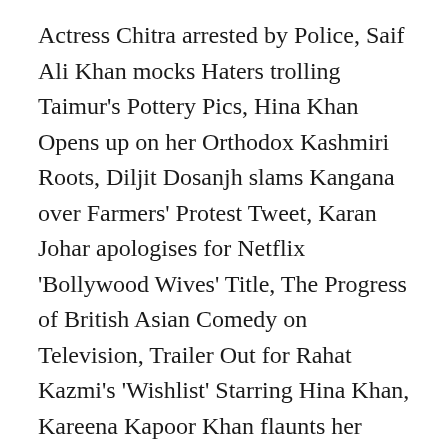Actress Chitra arrested by Police, Saif Ali Khan mocks Haters trolling Taimur's Pottery Pics, Hina Khan Opens up on her Orthodox Kashmiri Roots, Diljit Dosanjh slams Kangana over Farmers' Protest Tweet, Karan Johar apologises for Netflix 'Bollywood Wives' Title, The Progress of British Asian Comedy on Television, Trailer Out for Rahat Kazmi's 'Wishlist' Starring Hina Khan, Kareena Kapoor Khan flaunts her Baby Bump, Shahrukh Khan prepares Aryan for Bollywood. In the death case of Sushant Singh Rajput's former manager Disha Salian, an explosive testimony by the brother of the security guard of Disha's building has thoroughly exposed that there has been an